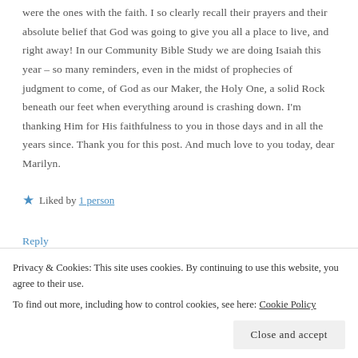were the ones with the faith. I so clearly recall their prayers and their absolute belief that God was going to give you all a place to live, and right away! In our Community Bible Study we are doing Isaiah this year – so many reminders, even in the midst of prophecies of judgment to come, of God as our Maker, the Holy One, a solid Rock beneath our feet when everything around is crashing down. I'm thanking Him for His faithfulness to you in those days and in all the years since. Thank you for this post. And much love to you today, dear Marilyn.
★ Liked by 1 person
Reply
Privacy & Cookies: This site uses cookies. By continuing to use this website, you agree to their use. To find out more, including how to control cookies, see here: Cookie Policy